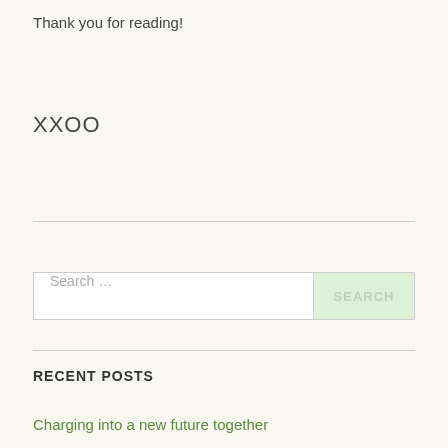Thank you for reading!
XXOO
Search …
RECENT POSTS
Charging into a new future together